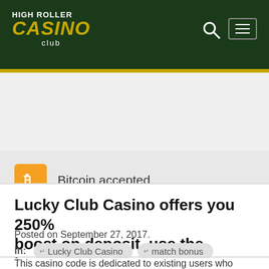HIGH ROLLER CASINO club
Bitcoin accepted.
Mobile version available.
Lucky Club Casino offers you 250% boost on deposit, use the bonus code
Posted on September 27, 2017.
In: Lucky Club Casino  match bonus  coupon code casino  deposit bonus
This casino code is dedicated to existing users who made a